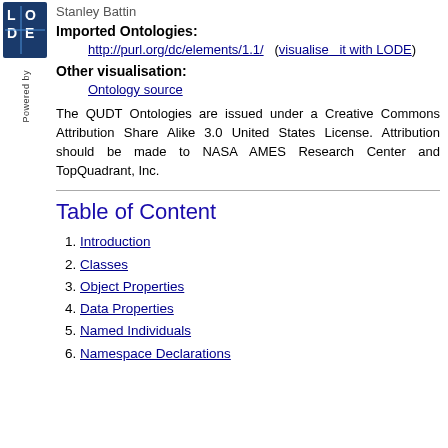[Figure (logo): LODE logo — blue square with letters L, O, D, E]
Powered by
Stanley Battin
Imported Ontologies:
http://purl.org/dc/elements/1.1/   (visualise  it with LODE)
Other visualisation:
Ontology source
The QUDT Ontologies are issued under a Creative Commons Attribution Share Alike 3.0 United States License. Attribution should be made to NASA AMES Research Center and TopQuadrant, Inc.
Table of Content
1. Introduction
2. Classes
3. Object Properties
4. Data Properties
5. Named Individuals
6. Namespace Declarations